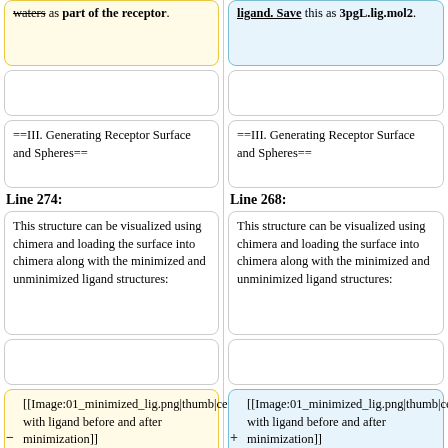waters as part of the receptor.
ligand. Save this as 3pgL.lig.mol2.
==III. Generating Receptor Surface and Spheres==
==III. Generating Receptor Surface and Spheres==
Line 274:
Line 268:
This structure can be visualized using chimera and loading the surface into chimera along with the minimized and unminimized ligand structures:
This structure can be visualized using chimera and loading the surface into chimera along with the minimized and unminimized ligand structures:
[[Image:01_minimized_lig.png|thumb|center|1000px|4qmz with ligand before and after minimization]]
[[Image:01_minimized_lig.png|thumb|center|1000px|3pgL with ligand before and after minimization]]